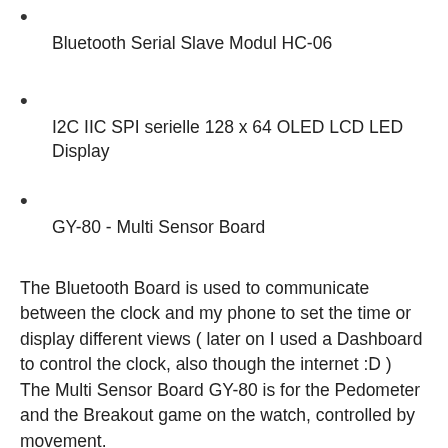Bluetooth Serial Slave Modul HC-06
I2C IIC SPI serielle 128 x 64 OLED LCD LED Display
GY-80 - Multi Sensor Board
The Bluetooth Board is used to communicate between the clock and my phone to set the time or display different views ( later on I used a Dashboard to control the clock, also though the internet :D )
The Multi Sensor Board GY-80 is for the Pedometer and the Breakout game on the watch, controlled by movement.